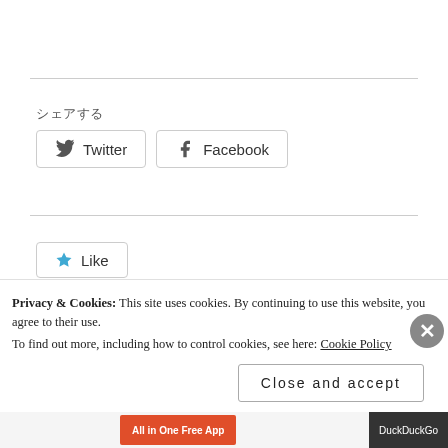シェアする
Twitter  Facebook
[Figure (other): Like button with star icon and text 'Be the first to like this.']
Privacy & Cookies: This site uses cookies. By continuing to use this website, you agree to their use. To find out more, including how to control cookies, see here: Cookie Policy
Close and accept